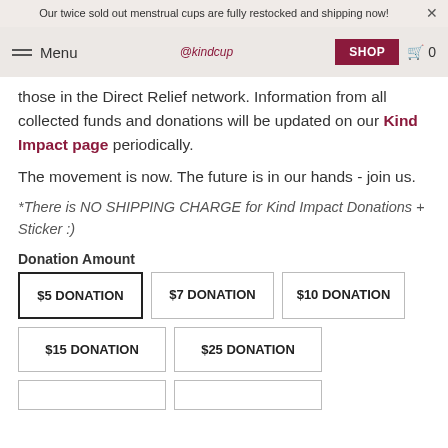Our twice sold out menstrual cups are fully restocked and shipping now!
Menu | @kindcup | SHOP | 0
those in the Direct Relief network. Information from all collected funds and donations will be updated on our Kind Impact page periodically.
The movement is now. The future is in our hands - join us.
*There is NO SHIPPING CHARGE for Kind Impact Donations + Sticker :)
Donation Amount
$5 DONATION | $7 DONATION | $10 DONATION | $15 DONATION | $25 DONATION